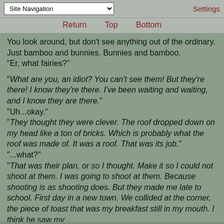Site Navigation | Settings
Return   Top   Bottom
You look around, but don't see anything out of the ordinary. Just bamboo and bunnies. Bunnies and bamboo.
"Er, what fairies?"

"What are you, an idiot? You can't see them! But they're there! I know they're there. I've been waiting and waiting, and I know they are there."
"Uh...okay."
"They thought they were clever. The roof dropped down on my head like a ton of bricks. Which is probably what the roof was made of. It was a roof. That was its job."
"...what?"
"That was their plan, or so I thought. Make it so I could not shoot at them. I was going to shoot at them. Because shooting is as shooting does. But they made me late to school. First day in a new town. We collided at the corner, the piece of toast that was my breakfast still in my mouth. I think he saw my